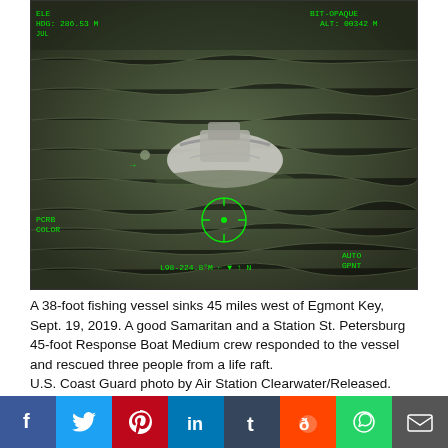[Figure (photo): Aerial thermal/night-vision camera footage of a capsized 38-foot fishing vessel in choppy water, with green HUD overlays showing elevation, direction, and targeting information.]
A 38-foot fishing vessel sinks 45 miles west of Egmont Key, Sept. 19, 2019. A good Samaritan and a Station St. Petersburg 45-foot Response Boat Medium crew responded to the vessel and rescued three people from a life raft.
U.S. Coast Guard photo by Air Station Clearwater/Released.
Coast Guard Sector St. Petersburg watchstanders received notification from the American Pride crew